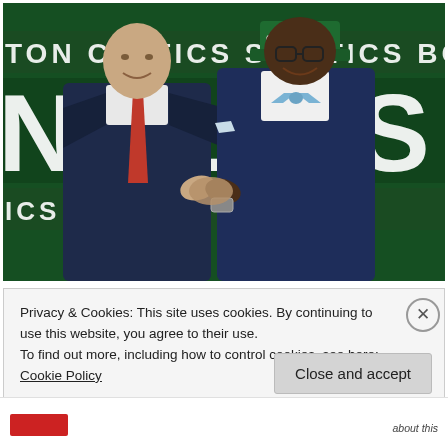[Figure (photo): Two men in suits shaking hands at an NBA Draft event. Left man is bald in a dark navy suit with a red tie. Right man wears a navy suit with a light blue bow tie, glasses, and a green Boston Celtics draft cap. Background shows green Boston Celtics branding with large white letters.]
Privacy & Cookies: This site uses cookies. By continuing to use this website, you agree to their use.
To find out more, including how to control cookies, see here: Cookie Policy
Close and accept